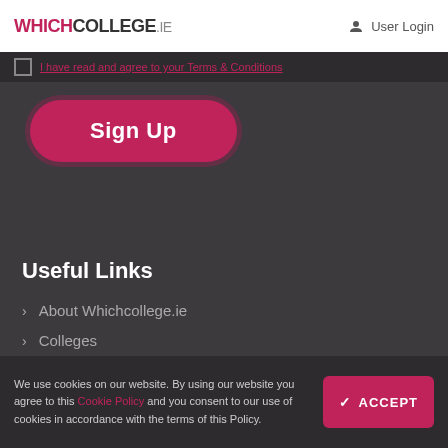WHICHCOLLEGE.IE  User Login
I have read and agree to your Terms & Conditions
Sign Up
Useful Links
About Whichcollege.ie
Colleges
Awarding Bodies
We use cookies on our website. By using our website you agree to this Cookie Policy and you consent to our use of cookies in accordance with the terms of this Policy.
ACCEPT